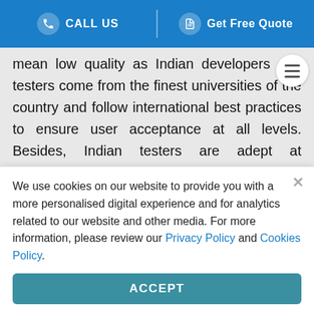CALL US | Get Free Quote
mean low quality as Indian developers and testers come from the finest universities of the country and follow international best practices to ensure user acceptance at all levels. Besides, Indian testers are adept at performing all sorts of tests. Test automation is also on the rise in India which greatly helps save time and
We use cookies on our website to provide you with a more personalised digital experience and for analytics related to our website and other media. For more information, please review our Privacy Policy and Cookies Policy.
ACCEPT